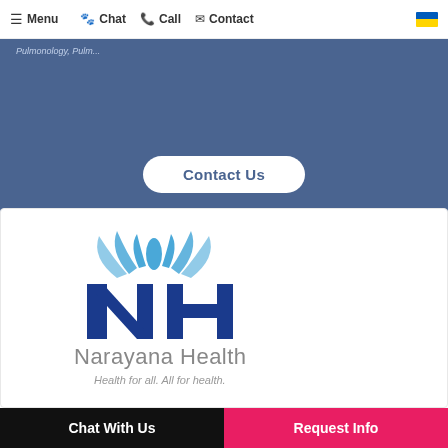≡ Menu  🐾 Chat  📞 Call  ✉ Contact
Contact Us
[Figure (logo): Narayana Health logo with NH letters and stylized lotus/water drop above, tagline: Health for all. All for health.]
Chat With Us   |   Request Info